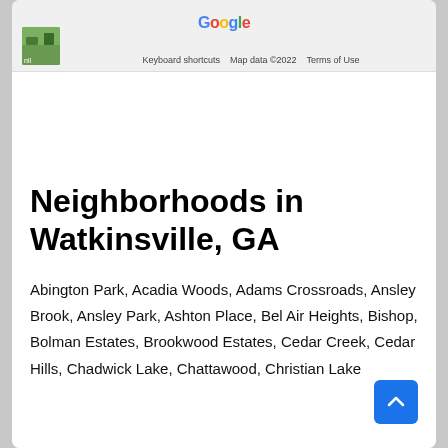[Figure (screenshot): Google Maps map thumbnail with Google logo and footer text: Keyboard shortcuts, Map data ©2022, Terms of Use]
Neighborhoods in Watkinsville, GA
Abington Park, Acadia Woods, Adams Crossroads, Ansley Brook, Ansley Park, Ashton Place, Bel Air Heights, Bishop, Bolman Estates, Brookwood Estates, Cedar Creek, Cedar Hills, Chadwick Lake, Chattawood, Christian Lake